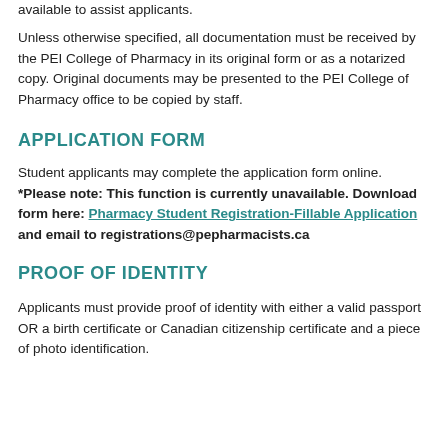available to assist applicants.
Unless otherwise specified, all documentation must be received by the PEI College of Pharmacy in its original form or as a notarized copy. Original documents may be presented to the PEI College of Pharmacy office to be copied by staff.
APPLICATION FORM
Student applicants may complete the application form online. *Please note: This function is currently unavailable. Download form here: Pharmacy Student Registration-Fillable Application and email to registrations@pepharmacists.ca
PROOF OF IDENTITY
Applicants must provide proof of identity with either a valid passport OR a birth certificate or Canadian citizenship certificate and a piece of photo identification.